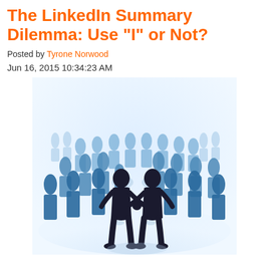The LinkedIn Summary Dilemma: Use "I" or Not?
Posted by Tyrone Norwood
Jun 16, 2015 10:34:23 AM
[Figure (illustration): Vector illustration of business people silhouettes in blue tones, with two dark foreground figures shaking hands in the center, surrounded by a crowd of lighter blue professional figures in the background on a light blue reflective floor.]